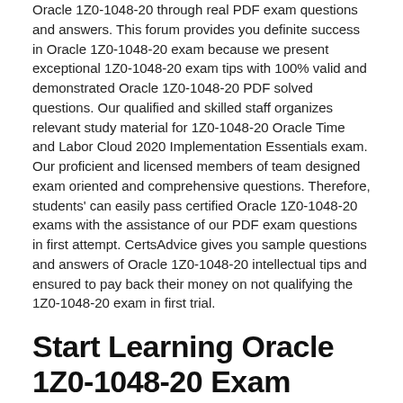Oracle 1Z0-1048-20 through real PDF exam questions and answers. This forum provides you definite success in Oracle 1Z0-1048-20 exam because we present exceptional 1Z0-1048-20 exam tips with 100% valid and demonstrated Oracle 1Z0-1048-20 PDF solved questions. Our qualified and skilled staff organizes relevant study material for 1Z0-1048-20 Oracle Time and Labor Cloud 2020 Implementation Essentials exam. Our proficient and licensed members of team designed exam oriented and comprehensive questions. Therefore, students' can easily pass certified Oracle 1Z0-1048-20 exams with the assistance of our PDF exam questions in first attempt. CertsAdvice gives you sample questions and answers of Oracle 1Z0-1048-20 intellectual tips and ensured to pay back their money on not qualifying the 1Z0-1048-20 exam in first trial.
Start Learning Oracle 1Z0-1048-20 Exam Questions For Excellent And Quality Results
The first and foremost objective of licensed Oracle 1Z0-1048-20